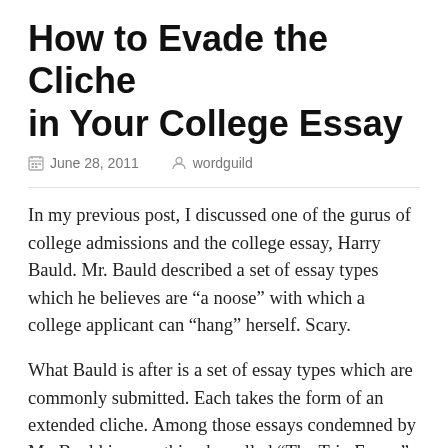How to Evade the Cliche in Your College Essay
June 28, 2011   wordguild
In my previous post, I discussed one of the gurus of college admissions and the college essay, Harry Bauld.  Mr. Bauld described a set of essay types which he believes are “a noose” with which a college applicant can “hang” herself.  Scary.
What Bauld is after is a set of essay types which are commonly submitted.  Each takes the form of an extended cliche.  Among those essays condemned by Mr. Bauld is something he called “The Trip Essay.”  In this you describe a trip you went on and what you